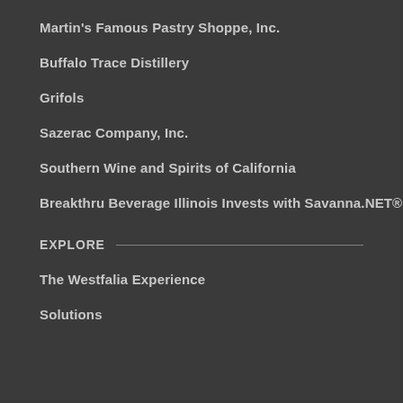Martin's Famous Pastry Shoppe, Inc.
Buffalo Trace Distillery
Grifols
Sazerac Company, Inc.
Southern Wine and Spirits of California
Breakthru Beverage Illinois Invests with Savanna.NET®
EXPLORE
The Westfalia Experience
Solutions